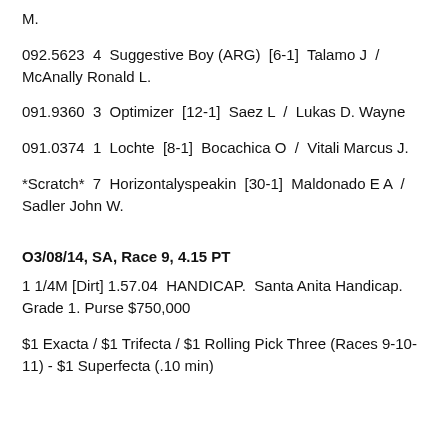M.
092.5623  4  Suggestive Boy (ARG)  [6-1]  Talamo J  /  McAnally Ronald L.
091.9360  3  Optimizer  [12-1]  Saez L  /  Lukas D. Wayne
091.0374  1  Lochte  [8-1]  Bocachica O  /  Vitali Marcus J.
*Scratch*  7  Horizontalyspeakin  [30-1]  Maldonado E A  /  Sadler John W.
O3/08/14, SA, Race 9, 4.15 PT
1 1/4M [Dirt] 1.57.04  HANDICAP.  Santa Anita Handicap. Grade 1. Purse $750,000
$1 Exacta / $1 Trifecta / $1 Rolling Pick Three (Races 9-10-11) - $1 Superfecta (.10 min)